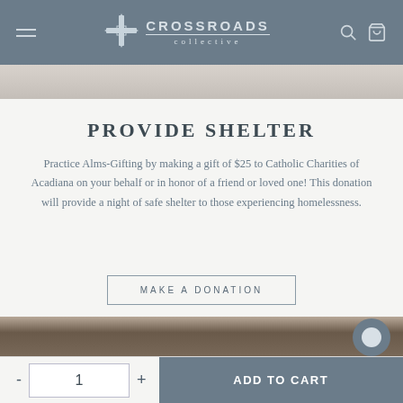CROSSROADS collective
[Figure (photo): Partial photo strip at top of page showing blurred background]
PROVIDE SHELTER
Practice Alms-Gifting by making a gift of $25 to Catholic Charities of Acadiana on your behalf or in honor of a friend or loved one! This donation will provide a night of safe shelter to those experiencing homelessness.
MAKE A DONATION
[Figure (photo): Person holding brown paper bags, bokeh background with lights]